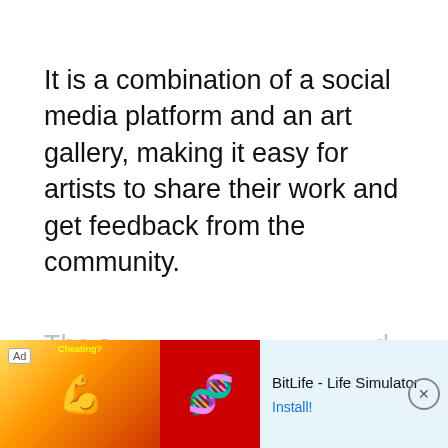It is a combination of a social media platform and an art gallery, making it easy for artists to share their work and get feedback from the community.
The s… d article… ng
[Figure (other): Mobile advertisement banner for BitLife - Life Simulator app. Shows 'Ad' label, an orange/red graphic with muscle emoji and 'Cheating?' text, a red BitLife logo panel with sperm icon, app name 'BitLife - Life Simulator', 'Install!' call-to-action button, and a close (X) button.]